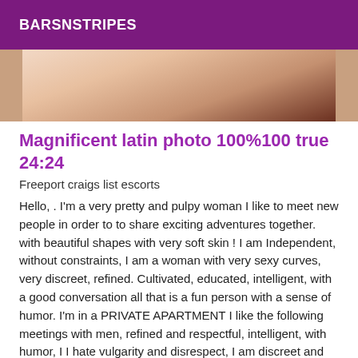BARSNSTRIPES
[Figure (photo): Partial photo of a person, cropped, showing skin tones and dark background, framed between dark borders.]
Magnificent latin photo 100%100 true 24:24
Freeport craigs list escorts
Hello, . I'm a very pretty and pulpy woman I like to meet new people in order to to share exciting adventures together. with beautiful shapes with very soft skin ! I am Independent, without constraints, I am a woman with very sexy curves, very discreet, refined. Cultivated, educated, intelligent, with a good conversation all that is a fun person with a sense of humor. I'm in a PRIVATE APARTMENT I like the following meetings with men, refined and respectful, intelligent, with humor, I I hate vulgarity and disrespect, I am discreet and cultured. If this is the case, I propose you a moment of relaxation in an environment quiet and very discreet For more